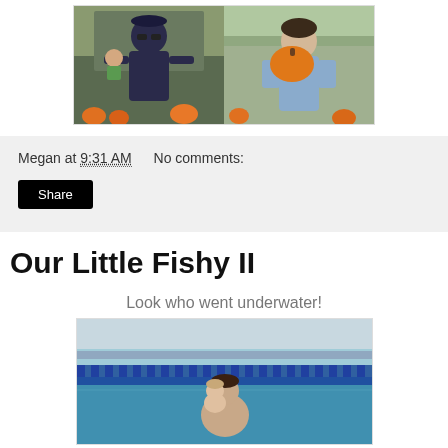[Figure (photo): Two side-by-side outdoor photos. Left: person in dark shirt holding a baby at a pumpkin patch. Right: person in light blue shirt holding an orange pumpkin.]
Megan at 9:31 AM    No comments:
[Figure (other): Share button (black button with white text)]
Our Little Fishy II
Look who went underwater!
[Figure (photo): Photo of a baby and adult in a swimming pool with lane dividers visible in the background.]